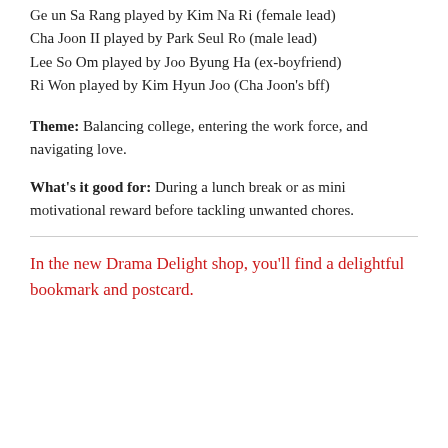Ge un Sa Rang played by Kim Na Ri (female lead)
Cha Joon II played by Park Seul Ro (male lead)
Lee So Om played by Joo Byung Ha (ex-boyfriend)
Ri Won played by Kim Hyun Joo (Cha Joon's bff)
Theme: Balancing college, entering the work force, and navigating love.
What's it good for: During a lunch break or as mini motivational reward before tackling unwanted chores.
In the new Drama Delight shop, you'll find a delightful bookmark and postcard.